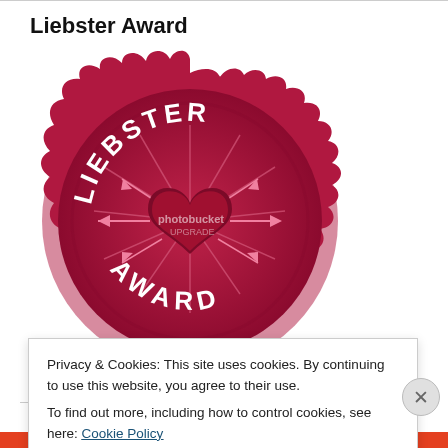Liebster Award
[Figure (illustration): Circular pink/crimson Liebster Award badge with scalloped edge, text LIEBSTER at top and AWARD at bottom, heart in center, photobucket watermark overlay, decorative arrows]
Versatile Blogger Award
Privacy & Cookies: This site uses cookies. By continuing to use this website, you agree to their use.
To find out more, including how to control cookies, see here: Cookie Policy
Close and accept